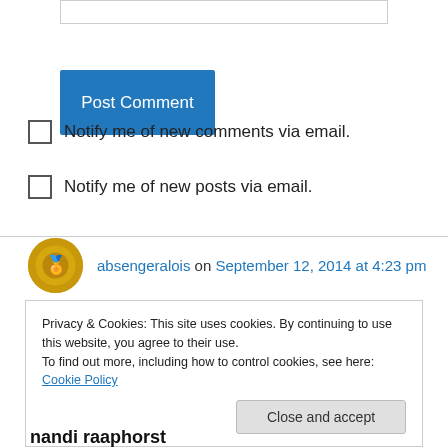[Figure (screenshot): Input text field bar at top]
Post Comment
Notify me of new comments via email.
Notify me of new posts via email.
absengeralois on September 12, 2014 at 4:23 pm
great photo in a great atmosphere!
Privacy & Cookies: This site uses cookies. By continuing to use this website, you agree to their use.
To find out more, including how to control cookies, see here: Cookie Policy
Close and accept
nandi raaphorst